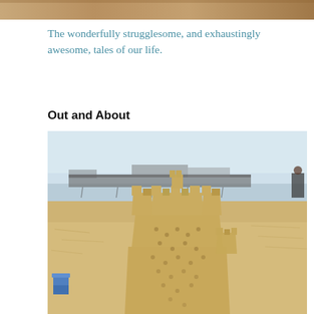[Figure (photo): Partial top banner image, cropped, showing a warm-toned wooden or earthy surface]
The wonderfully strugglesome, and exhaustingly awesome, tales of our life.
Out and About
[Figure (photo): A sandcastle on a beach with a pier/boardwalk visible in the background across calm water. Sandy beach surrounds the castle. A blue bucket is visible on the lower left.]